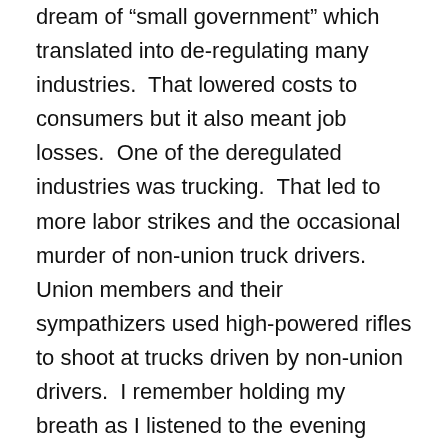dream of "small government" which translated into de-regulating many industries.  That lowered costs to consumers but it also meant job losses.  One of the deregulated industries was trucking.  That led to more labor strikes and the occasional murder of non-union truck drivers.  Union members and their sympathizers used high-powered rifles to shoot at trucks driven by non-union drivers.  I remember holding my breath as I listened to the evening news, wondering if one of my truck driver relatives would be the next casualty.
In the 1980's, companies automated many jobs to remain competitive.  They downsized and reorganized their workforces and cut their employee training budgets.  Today employers complain that workers are disengaged and lack loyalty to the company.  Here's a news flash to employers: Employee engagement is not likely to come